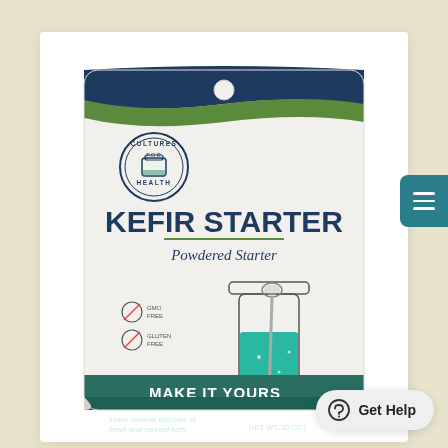[Figure (photo): Product photo of Cultures for Health Kefir Starter Powdered Starter package. The bag is white with a navy/teal wave at the top, teal bottom section, circular 'Cultures for Health' logo, large bold text 'KEFIR STARTER', subtitle 'Powdered Starter', illustrated mason jar with teal liquid and a spoon, small icons for GMO-free and gluten-free, 'MAKE IT YOURS' text in bold on teal band, tagline 'Make several batches of fresh and natural kefir', NET WT. 20 OZ label at bottom. A teal menu button is visible on the right edge. A 'Get Help' button appears in the lower right corner.]